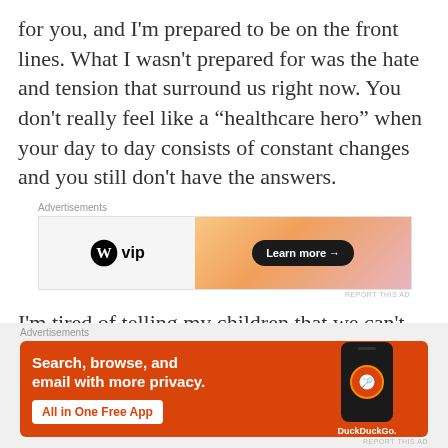for you, and I'm prepared to be on the front lines. What I wasn't prepared for was the hate and tension that surround us right now. You don't really feel like a “healthcare hero” when your day to day consists of constant changes and you still don't have the answers.
[Figure (other): WordPress VIP advertisement banner with orange gradient right side and 'Learn more' button]
I'm tired of telling my children that we can't walk in the store. I'm tired of my ears hurting and face
[Figure (other): DuckDuckGo advertisement banner with orange background, phone mockup, 'Search, browse, and email with more privacy. All in One Free App']